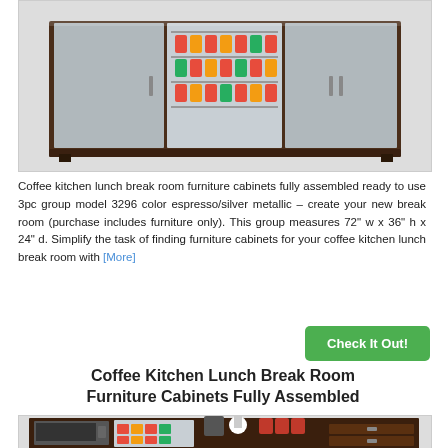[Figure (photo): Coffee kitchen lunch break room furniture cabinet with espresso/silver metallic finish, showing refrigerator with cans inside and closed cabinet doors]
Coffee kitchen lunch break room furniture cabinets fully assembled ready to use 3pc group model 3296 color espresso/silver metallic – create your new break room (purchase includes furniture only). This group measures 72" w x 36" h x 24" d. Simplify the task of finding furniture cabinets for your coffee kitchen lunch break room with [More]
Check It Out!
Coffee Kitchen Lunch Break Room Furniture Cabinets Fully Assembled
[Figure (photo): Coffee kitchen lunch break room furniture cabinet in dark espresso finish with microwave, mini fridge with drinks, coffee maker, and accessories on top]